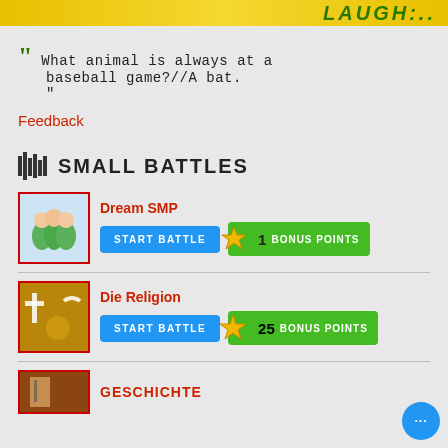[Figure (illustration): Yellow banner with smiley face and green LAUGH text]
““ What animal is always at a baseball game?//A bat. ”
Feedback
SMALL BATTLES
[Figure (illustration): Dream SMP thumbnail with cartoon children in green shirts]
Dream SMP
START BATTLE   1 BONUS POINTS
[Figure (illustration): Die Religion thumbnail showing religious symbols cross and crescent]
Die Religion
START BATTLE   25 BONUS POINTS
[Figure (illustration): Geschichte thumbnail showing historical image]
GESCHICHTE